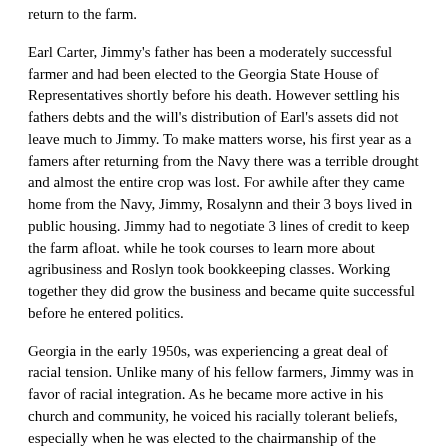return to the farm.
Earl Carter, Jimmy's father has been a moderately successful farmer and had been elected to the Georgia State House of Representatives shortly before his death. However settling his fathers debts and the will's distribution of Earl's assets did not leave much to Jimmy. To make matters worse, his first year as a famers after returning from the Navy there was a terrible drought and almost the entire crop was lost. For awhile after they came home from the Navy, Jimmy, Rosalynn and their 3 boys lived in public housing. Jimmy had to negotiate 3 lines of credit to keep the farm afloat. while he took courses to learn more about agribusiness and Roslyn took bookkeeping classes. Working together they did grow the business and became quite successful before he entered politics.
Georgia in the early 1950s, was experiencing a great deal of racial tension. Unlike many of his fellow farmers, Jimmy was in favor of racial integration. As he became more active in his church and community, he voiced his racially tolerant beliefs, especially when he was elected to the chairmanship of the Sumtner County School Board. A change in representative factors for the State Senate, opened up a seat. Carter entered the race with just 15 days to campaign was not expected to